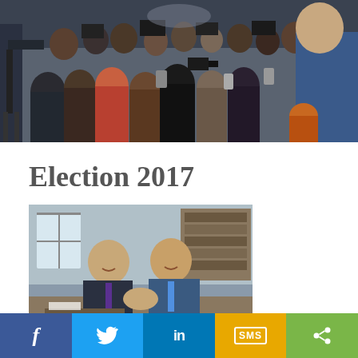[Figure (photo): Press conference photo showing a large crowd of journalists and photographers with cameras and tripods, facing a speaker (partially visible on right) at what appears to be an indoor event.]
Election 2017
[Figure (photo): Two men shaking hands and smiling inside what appears to be an office or formal room setting.]
Clark staying on, for now; NDP endorse pact with Greens
May 30, 2017
John Horgan and Andrew Weaver are going to be
[Figure (infographic): Social media sharing bar with Facebook, Twitter, LinkedIn, SMS, and Share buttons]